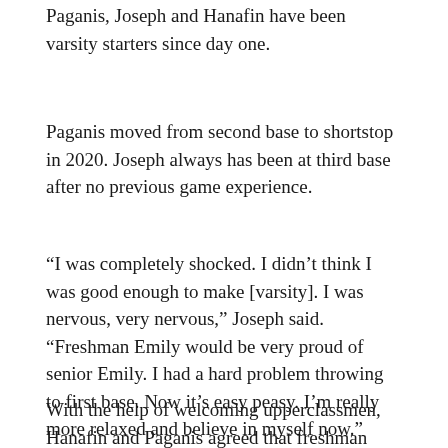Paganis, Joseph and Hanafin have been varsity starters since day one.
Paganis moved from second base to shortstop in 2020. Joseph always has been at third base after no previous game experience.
“I was completely shocked. I didn’t think I was good enough to make [varsity]. I was nervous, very nervous,” Joseph said. “Freshman Emily would be very proud of senior Emily. I had a hard problem throwing to first base. Now it’s easy peasy. I’m really more relaxed and believe in myself now.”
With the help of welcoming upperclassmen, Hanafin and Paganis agreed that freshman nervousness evolved